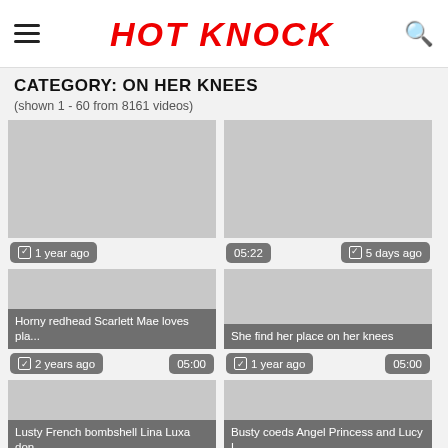HOT KNOCK
CATEGORY: ON HER KNEES
(shown 1 - 60 from 8161 videos)
[Figure (screenshot): Video thumbnail card 1 with badge '1 year ago' and duration area]
[Figure (screenshot): Video thumbnail card 2 with badge '5 days ago' and duration '05:22']
[Figure (screenshot): Video card: Horny redhead Scarlett Mae loves pla... | 2 years ago | 05:00]
[Figure (screenshot): Video card: She find her place on her knees | 1 year ago | 05:00]
[Figure (screenshot): Video card: Lusty French bombshell Lina Luxa don... | 3 weeks ago]
[Figure (screenshot): Video card: Busty coeds Angel Princess and Lucy L... | 1 year ago | 05:54]